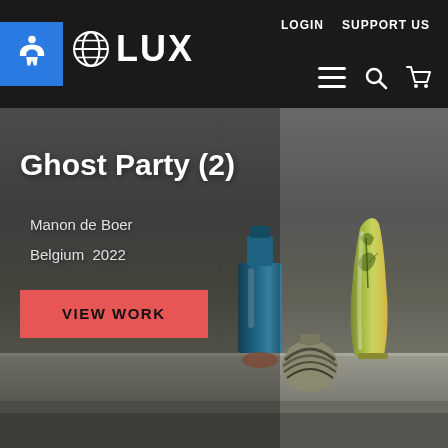LOGIN  SUPPORT US
[Figure (logo): LUX logo with globe icon and accessibility button in blue]
[Figure (photo): Hero background showing grey concrete wall with three decorative vases (blue bottle, striped round vase, tall yellow-green vase) on a concrete ledge]
Ghost Party (2)
Manon de Boer
Belgium  2022
VIEW WORK